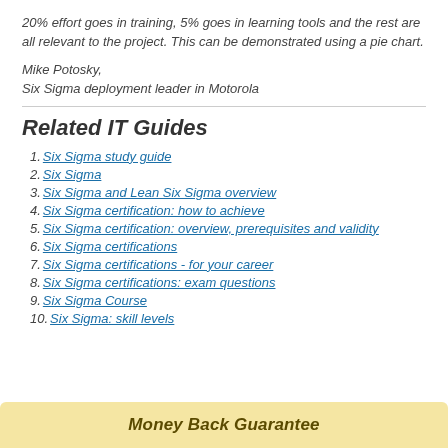20% effort goes in training, 5% goes in learning tools and the rest are all relevant to the project. This can be demonstrated using a pie chart.
Mike Potosky,
Six Sigma deployment leader in Motorola
Related IT Guides
1. Six Sigma study guide
2. Six Sigma
3. Six Sigma and Lean Six Sigma overview
4. Six Sigma certification: how to achieve
5. Six Sigma certification: overview, prerequisites and validity
6. Six Sigma certifications
7. Six Sigma certifications - for your career
8. Six Sigma certifications: exam questions
9. Six Sigma Course
10. Six Sigma: skill levels
Money Back Guarantee